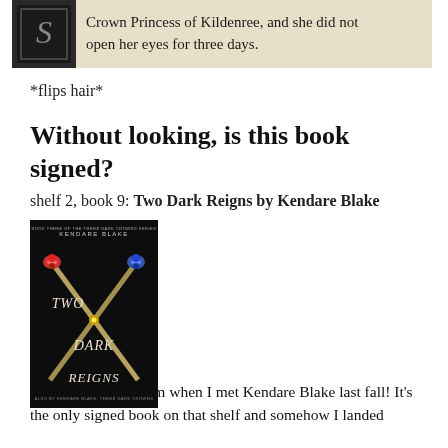[Figure (photo): Top portion of a book page showing a decorative letter S in a dark square, followed by text: 'Crown Princess of Kildenree, and she did not open her eyes for three days.']
*flips hair*
Without looking, is this book signed?
shelf 2, book 9: Two Dark Reigns by Kendare Blake
[Figure (photo): Book cover of 'Two Dark Reigns by Kendare Blake' — dark black background with two crossed scepters decorated with colorful ornaments, title text 'TWO DARK REIGNS' in stylized font, author name 'KENDARE BLAKE' at top]
IT IS SIGNED! From when I met Kendare Blake last fall! It's the only signed book on that shelf and somehow I landed